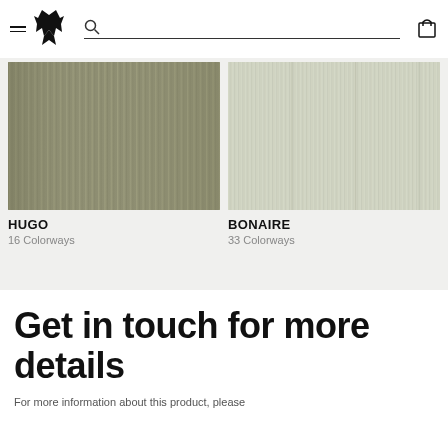Navigation bar with hamburger menu, wolf logo, search bar, and shopping bag icon
[Figure (photo): HUGO fabric texture — dark olive/khaki woven textile with vertical striping]
HUGO
16 Colorways
[Figure (photo): BONAIRE fabric texture — light sage/pale green striped textile with fine vertical lines]
BONAIRE
33 Colorways
Get in touch for more details
For more information about this product, please